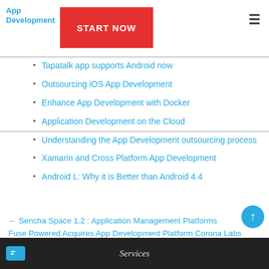App Development | START NOW
Tapatalk app supports Android now
Outsourcing iOS App Development
Enhance App Development with Docker
Application Development on the Cloud
Understanding the App Development outsourcing process
Xamarin and Cross Platform App Development
Android L: Why it is Better than Android 4.4
← Sencha Space 1.2 : Application Management Platforms
Fuse Powered Acquires App Development Platform Corona Labs →
Services